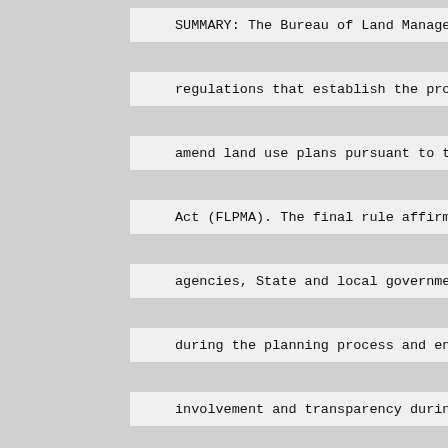SUMMARY: The Bureau of Land Management (B
regulations that establish the procedures
amend land use plans pursuant to the Fede
Act (FLPMA). The final rule affirms the i
agencies, State and local governments, In
during the planning process and enhances
involvement and transparency during the p
management plans. The final rule will ena